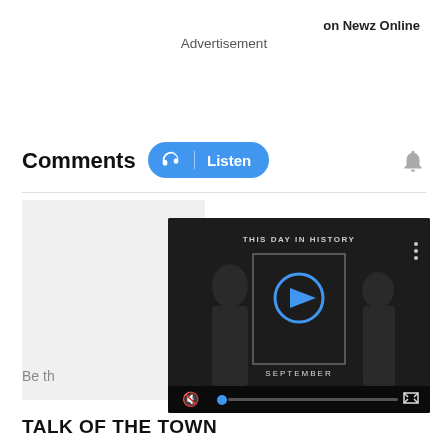on Newz Online
Advertisement
Comments
[Figure (screenshot): Blue Listen button with headphone icon next to Comments heading]
[Figure (screenshot): Video player showing 'THIS DAY IN HISTORY - SEPTEMBER' with play button, mute icon, progress bar, and fullscreen button overlay on dark background with people silhouettes]
Be th
TALK OF THE TOWN